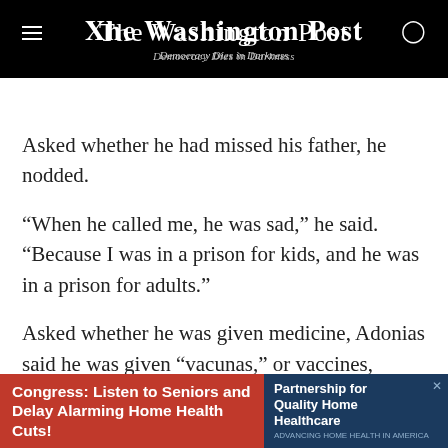The Washington Post — Democracy Dies in Darkness
Asked whether he had missed his father, he nodded.
“When he called me, he was sad,” he said. “Because I was in a prison for kids, and he was in a prison for adults.”
Asked whether he was given medicine, Adonias said he was given “vacunas,” or vaccines, “many times” in the shelter’s clinic and “in class.”
“They gave me one here and one here and one here,” he
[Figure (other): Advertisement banner: red section reads 'Congress: Listen to Seniors and Delay Alarming Home Health Cuts!' and blue section reads 'Partnership for Quality Home Healthcare']